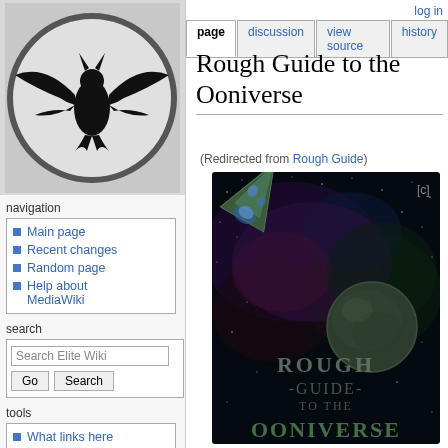[Figure (logo): Circular logo with black winged creature (bat/eagle silhouette) on grey background — Elite game logo]
log in
page | discussion | view source | history
Rough Guide to the Ooniverse
(Redirected from Rough Guide)
navigation
Main page
Recent changes
Random page
Help about MediaWiki
search
tools
What links here
Related changes
Special pages
Printable version
[Figure (illustration): Book cover of 'Rough Guide to the Ooniverse' — dark space scene with spaceship and planet, title text visible at bottom]